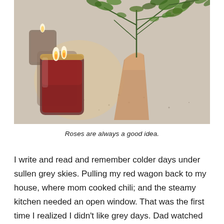[Figure (photo): Photo of a red candle in a glass jar with a gold rim, lit with a flame, alongside a vase with green leafy branches, all resting on a light textured surface.]
Roses are always a good idea.
I write and read and remember colder days under sullen grey skies. Pulling my red wagon back to my house, where mom cooked chili; and the steamy kitchen needed an open window. That was the first time I realized I didn't like grey days. Dad watched yet another football game, and even if I could change the channel we only had two others to choose from. Was I